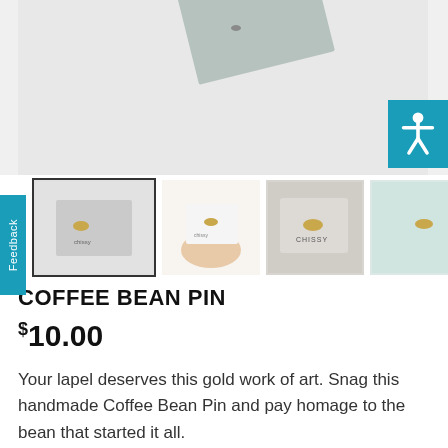[Figure (photo): Main product photo showing a grey card/mat with a small coffee bean pin on it, against a light grey background]
[Figure (photo): Thumbnail 1: Grey card with gold coffee bean pin, bordered]
[Figure (photo): Thumbnail 2: Hand holding a white card with gold coffee bean pin]
[Figure (photo): Thumbnail 3: Coffee bean pin on a grey branded card on a stone surface]
[Figure (photo): Thumbnail 4: Gold coffee bean pin on a light blue fuzzy fabric]
COFFEE BEAN PIN
$10.00
Your lapel deserves this gold work of art. Snag this handmade Coffee Bean Pin and pay homage to the bean that started it all.